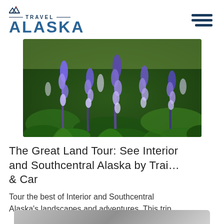[Figure (logo): Travel Alaska logo with mountain icon, horizontal lines and large blue ALASKA text]
[Figure (photo): Vibrant purple and blue lupine wildflowers in a green field in Alaska]
The Great Land Tour: See Interior and Southcentral Alaska by Trai… & Car
Tour the best of Interior and Southcentral Alaska's landscapes and adventures. This trip…